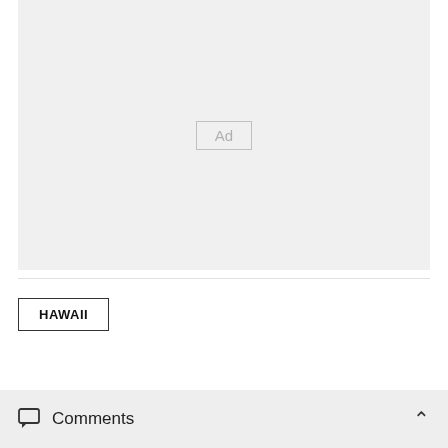[Figure (other): Advertisement placeholder box with 'Ad' label centered in a light gray rectangle]
HAWAII
Comments